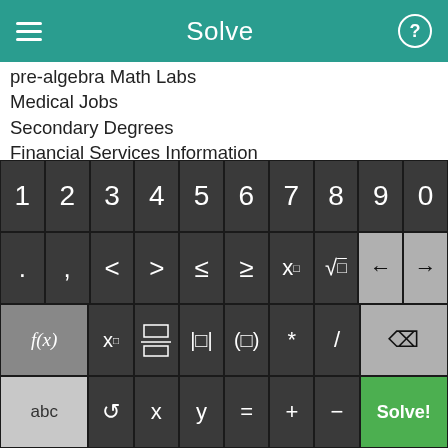Solve
pre-algebra Math Labs
Medical Jobs
Secondary Degrees
Financial Services Information
changing log base t1 83
Information on Chapter 13 Bankruptcy
En Espanol Textbook
Pregnancy Diet
Printable Ninth Grade Math Worksheets
Math Videos
[Figure (screenshot): On-screen math keyboard with number row (1-9,0), symbol row (. , < > ≤ ≥ x^□ √□ ← →), function row (f(x) x□ □/□ |□| (□) * / backspace), and bottom row (abc ↺ x y = + - Solve!)]